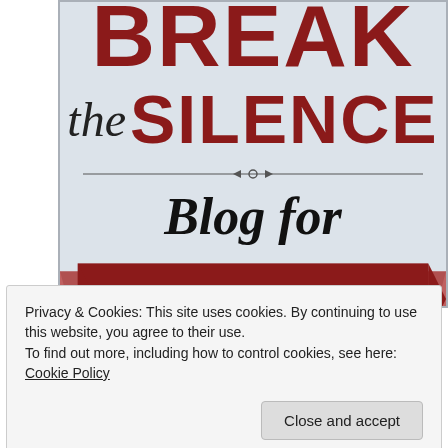[Figure (infographic): Break the Silence Blog for Suicide Prevention promotional banner on light blue-gray background. Text reads: BREAK (dark red, large bold) / the SILENCE (italic serif 'the', large bold dark red 'SILENCE') / decorative horizontal divider / Blog for (bold italic serif) / ribbon banner reading SUICIDE PREVENTION in white bold text on dark red background]
Privacy & Cookies: This site uses cookies. By continuing to use this website, you agree to their use.
To find out more, including how to control cookies, see here: Cookie Policy
Close and accept
new posts by email.